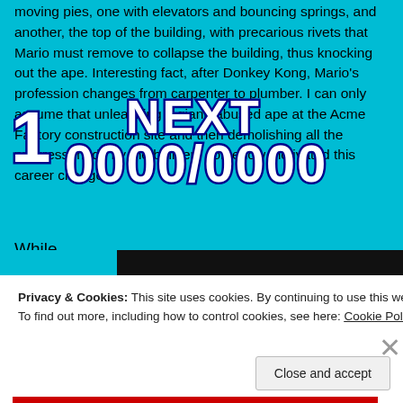moving pies, one with elevators and bouncing springs, and another, the top of the building, with precarious rivets that Mario must remove to collapse the building, thus knocking out the ape. Interesting fact, after Donkey Kong, Mario's profession changes from carpenter to plumber. I can only assume that unleashing a giant, abused ape at the Acme Factory construction site and then demolishing all the progress made by the builders somehow motivated this career change.
[Figure (screenshot): Game score overlay showing '1' on the left and 'NEXT 0000/0000' in blue outlined white text on cyan background]
While
Privacy & Cookies: This site uses cookies. By continuing to use this website, you agree to their use.
To find out more, including how to control cookies, see here: Cookie Policy
Close and accept